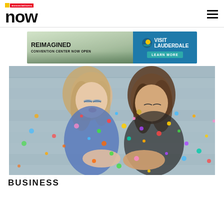associations now
[Figure (illustration): Advertisement banner for Visit Lauderdale: Reimagined Convention Center Now Open. Teal and green background with aerial coastal city view. Right side has Visit Lauderdale branding with sun logo and Learn More button.]
[Figure (photo): Two women blowing colorful confetti toward the camera against a light blue wooden background. One has blonde hair, the other brunette. Confetti is scattered around them.]
BUSINESS